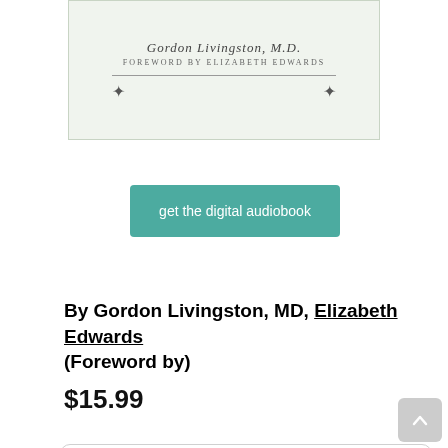[Figure (illustration): Book cover showing author name Gordon Livingston, M.D. with foreword by Elizabeth Edwards, light green background with decorative elements]
get the digital audiobook
By Gordon Livingston, MD, Elizabeth Edwards (Foreword by)
$15.99
add to cart
add to wish list
In our warehouse - should ship in 5-7 business days.